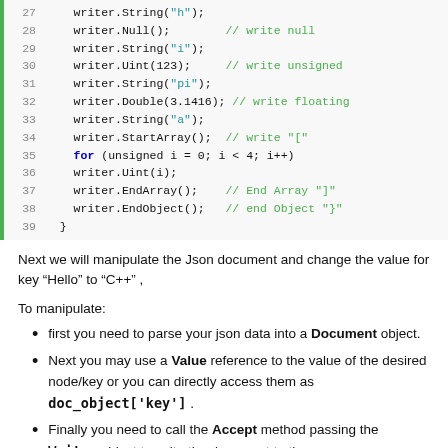[Figure (screenshot): Code block showing lines 27-39 of C++ code using writer methods: writer.String, writer.Null, writer.Uint, writer.Double, writer.StartArray, for loop, writer.EndArray, writer.EndObject, closing brace. Green comments on some lines.]
Next we will manipulate the Json document and change the value for key “Hello” to “C++” ,
To manipulate:
first you need to parse your json data into a Document object.
Next you may use a Value reference to the value of the desired node/key or you can directly access them as doc_object['key'] .
Finally you need to call the Accept method passing the Writer object to write the document to the